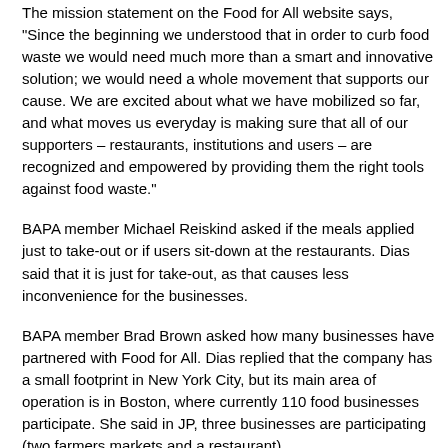The mission statement on the Food for All website says, "Since the beginning we understood that in order to curb food waste we would need much more than a smart and innovative solution; we would need a whole movement that supports our cause. We are excited about what we have mobilized so far, and what moves us everyday is making sure that all of our supporters – restaurants, institutions and users – are recognized and empowered by providing them the right tools against food waste."
BAPA member Michael Reiskind asked if the meals applied just to take-out or if users sit-down at the restaurants. Dias said that it is just for take-out, as that causes less inconvenience for the businesses.
BAPA member Brad Brown asked how many businesses have partnered with Food for All. Dias replied that the company has a small footprint in New York City, but its main area of operation is in Boston, where currently 110 food businesses participate. She said in JP, three businesses are participating (two farmers markets and a restaurant).